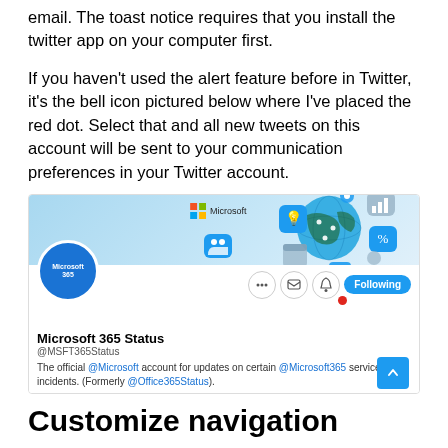email. The toast notice requires that you install the twitter app on your computer first.
If you haven't used the alert feature before in Twitter, it's the bell icon pictured below where I've placed the red dot. Select that and all new tweets on this account will be sent to your communication preferences in your Twitter account.
[Figure (screenshot): Screenshot of Microsoft 365 Status Twitter profile page showing profile avatar, header image with Microsoft logo and globe illustration, action buttons (three dots, mail, bell with red dot, Following), profile name 'Microsoft 365 Status', handle '@MSFT365Status', and bio text.]
Customize navigation